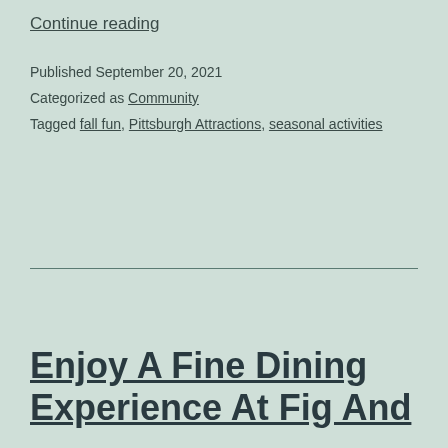Continue reading
Published September 20, 2021
Categorized as Community
Tagged fall fun, Pittsburgh Attractions, seasonal activities
Enjoy A Fine Dining Experience At Fig And